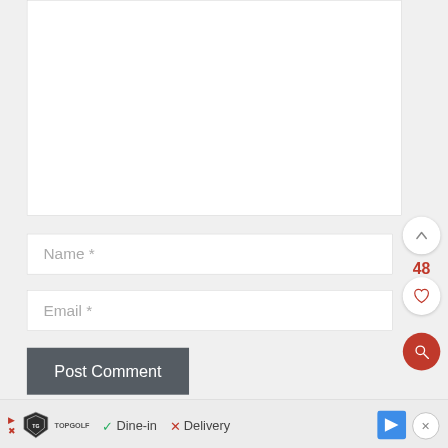[Figure (screenshot): Web form UI showing a comment textarea (empty, white), Name input field with placeholder 'Name *', Email input field with placeholder 'Email *', a dark grey 'Post Comment' button, side floating action buttons (up chevron, heart/like count 48, heart icon, red search icon), and a bottom ad bar for TopGolf showing 'Dine-in' with checkmark and 'Delivery' with X mark, plus a navigation arrow icon and close button.]